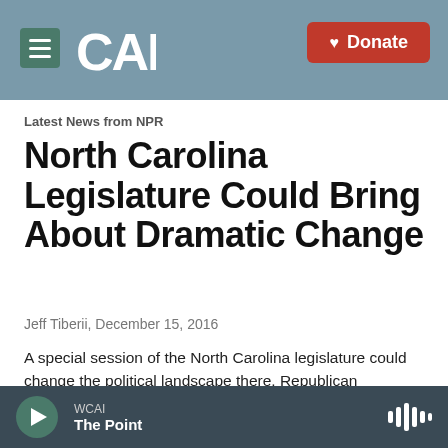CAI — Donate
Latest News from NPR
North Carolina Legislature Could Bring About Dramatic Change
Jeff Tiberii, December 15, 2016
A special session of the North Carolina legislature could change the political landscape there. Republican lawmakers are trying to significantly reduce the power of the incoming Democratic governor.
WCAI — The Point